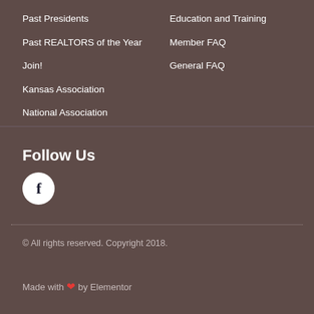Past Presidents
Education and Training
Past REALTORS of the Year
Member FAQ
Join!
General FAQ
Kansas Association
National Association
Follow Us
[Figure (logo): Facebook icon - white circle with dark 'f' letter]
© All rights reserved. Copyright 2018.
Made with ❤ by Elementor